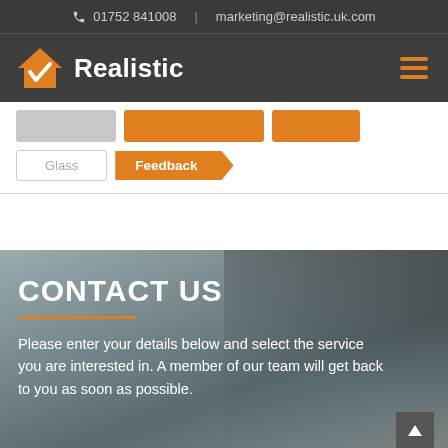📞 01752 841008 | marketing@realistic.uk.com
[Figure (logo): Realistic company logo with orange house icon and white checkmark, white bold text 'Realistic' on dark background, hamburger menu icon on right]
[Figure (screenshot): Navigation tab bar with gray placeholder tab, two orange placeholder tabs on top row; Glass tab (white outlined) and orange arrow-shaped Feedback tab on bottom row]
CONTACT US
Please enter your details below and select the service you are interested in. A member of our team will get back to you as soon as possible.